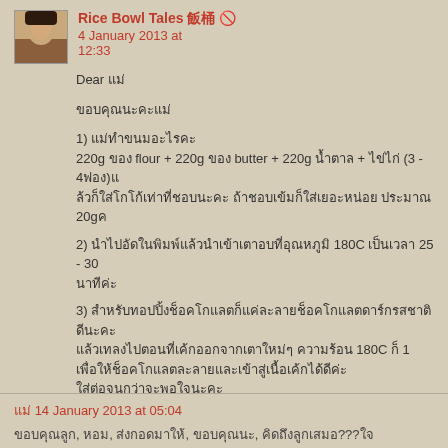Rice Bowl Tales 飯桶 · 4 January 2013 at 12:33
Dear แม่
ขอบคุณนะคะแม่
1) แม่ทำขนมอะไรคะ 220g ของ flour + 220g ของ butter + 220g น้ำตาล + ไข่ไก่ (3 - 4ฟอง) แล้วก็ใส่โกโก้เท่าที่ชอบนะคะ ถ้าชอบเข้มก็ใส่เยอะหน่อย ประมาณ 20g
2) นำไปอัดในพิมพ์แล้วนำเข้าเตาอบที่อุณหภูมิ 180C เป็นเวลา 25 - 30 นาทีค่ะ
3) สำหรับทอปปิ้งช็อคโกแลตก็แค่ละลายช็อคโกแลตดาร์กรสชาติดีนะคะ แล้วเทลงไปตอนที่เค้กออกจากเตาใหม่ๆ ความร้อน 180C ก็ 1 เพื่อให้ช็อคโกแลตละลายและเข้าสู่เนื้อเค้กได้ดีค่ะ ใส่ต่อจนกว่าจะพอใจนะคะ
แม่ 14 January 2013 at 05:04
ขอบคุณลูก, หอม, ส่งกอดมาให้, ขอบคุณนะ, คิดถึงลูกเสมอ???